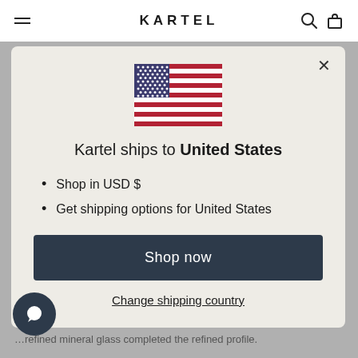KARTEL
[Figure (illustration): US Flag emoji/icon centered in modal]
Kartel ships to United States
Shop in USD $
Get shipping options for United States
Shop now
Change shipping country
refined profile.